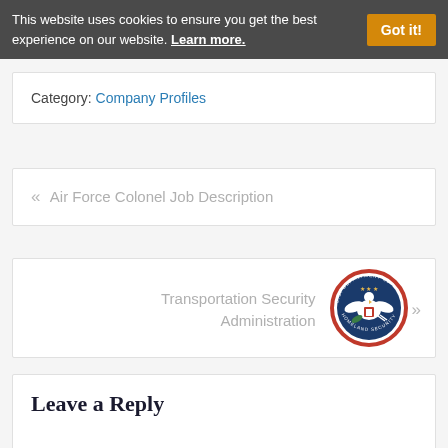This website uses cookies to ensure you get the best experience on our website. Learn more. Got it!
Category: Company Profiles
« Air Force Colonel Job Description
Transportation Security Administration »
[Figure (logo): U.S. Department of Homeland Security seal — circular badge with eagle, red border, and text 'U.S. DEPARTMENT OF HOMELAND SECURITY']
Leave a Reply